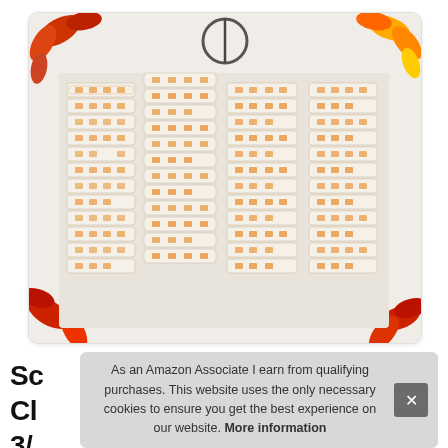[Figure (photo): Multiple rolls of decorative washi tape with pumpkin and bear patterns on a white/autumn leaf background, stacked in rows.]
Sc
Cl
3/
As an Amazon Associate I earn from qualifying purchases. This website uses the only necessary cookies to ensure you get the best experience on our website. More information